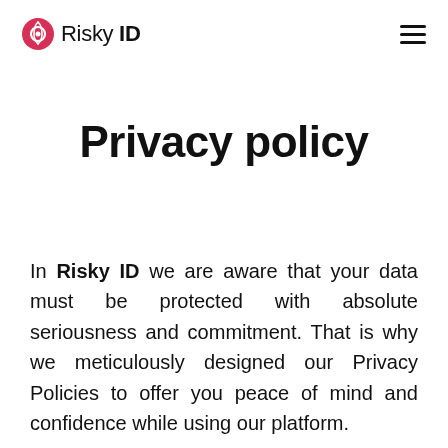Risky ID [logo + hamburger menu]
Privacy policy
In Risky ID we are aware that your data must be protected with absolute seriousness and commitment. That is why we meticulously designed our Privacy Policies to offer you peace of mind and confidence while using our platform.